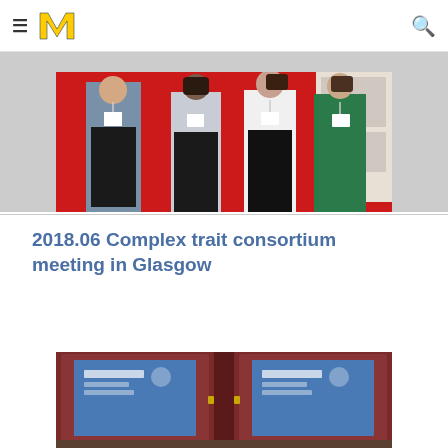University of Michigan navigation header with hamburger menu, M logo, and search icon
[Figure (photo): Three people standing in front of a red carpet backdrop at a conference, wearing lanyards/badges]
2018.06 Complex trait consortium meeting in Glasgow
[Figure (photo): Conference room doors with presentation screens visible, showing a blue slide with logos]